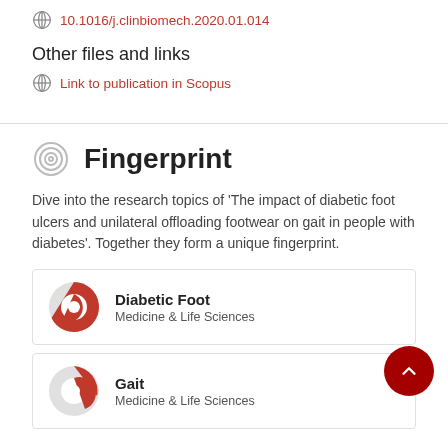10.1016/j.clinbiomech.2020.01.014
Other files and links
Link to publication in Scopus
Fingerprint
Dive into the research topics of 'The impact of diabetic foot ulcers and unilateral offloading footwear on gait in people with diabetes'. Together they form a unique fingerprint.
Diabetic Foot
Medicine & Life Sciences
Gait
Medicine & Life Sciences